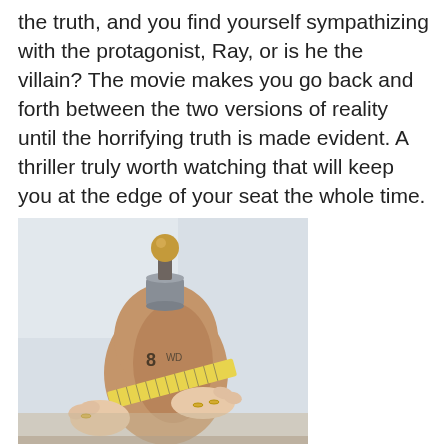the truth, and you find yourself sympathizing with the protagonist, Ray, or is he the villain? The movie makes you go back and forth between the two versions of reality until the horrifying truth is made evident. A thriller truly worth watching that will keep you at the edge of your seat the whole time.
[Figure (photo): A person's hands measuring a dress form/mannequin torso with a yellow measuring tape. The dress form is brown/kraft colored with a metallic top and a brass finial. The hands wear rings.]